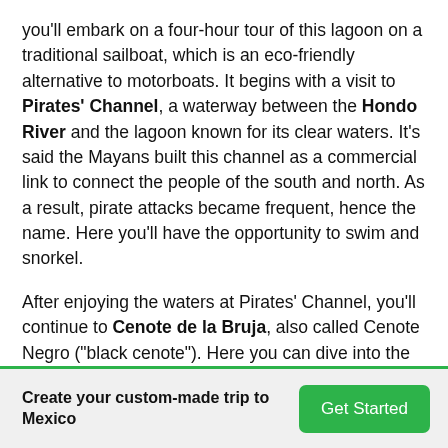you'll embark on a four-hour tour of this lagoon on a traditional sailboat, which is an eco-friendly alternative to motorboats. It begins with a visit to Pirates' Channel, a waterway between the Hondo River and the lagoon known for its clear waters. It's said the Mayans built this channel as a commercial link to connect the people of the south and north. As a result, pirate attacks became frequent, hence the name. Here you'll have the opportunity to swim and snorkel.
After enjoying the waters at Pirates' Channel, you'll continue to Cenote de la Bruja, also called Cenote Negro ("black cenote"). Here you can dive into the water for a refreshing swim. Finally, pay a visit to the Isla de Los Pájaros, an island and bird sanctuary home to herons, parrots, snail-hawks, mockingbirds, larks, and more. When you return to shore, you'll have the rest of the day free. One other highlight here
Create your custom-made trip to Mexico | Get Started